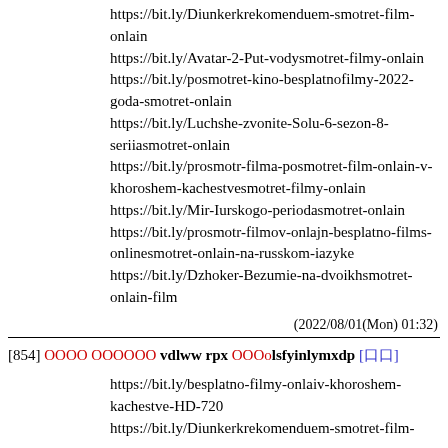https://bit.ly/Diunkerkrekomenduem-smotret-film-onlain
https://bit.ly/Avatar-2-Put-vodysmotret-filmy-onlain
https://bit.ly/posmotret-kino-besplatnofilmy-2022-goda-smotret-onlain
https://bit.ly/Luchshe-zvonite-Solu-6-sezon-8-seriiasmotret-onlain
https://bit.ly/prosmotr-filma-posmotret-film-onlain-v-khoroshem-kachestvesmotret-filmy-onlain
https://bit.ly/Mir-Iurskogo-periodasmotret-onlain
https://bit.ly/prosmotr-filmov-onlajn-besplatno-films-onlinesmotret-onlain-na-russkom-iazyke
https://bit.ly/Dzhoker-Bezumie-na-dvoikhsmotret-onlain-film
(2022/08/01(Mon) 01:32)
[854] ОООо оооооо vdlww rpx ООООlsfyinlymxdp [口口]
https://bit.ly/besplatno-filmy-onlaiv-khoroshem-kachestve-HD-720
https://bit.ly/Diunkerkrekomenduem-smotret-film-